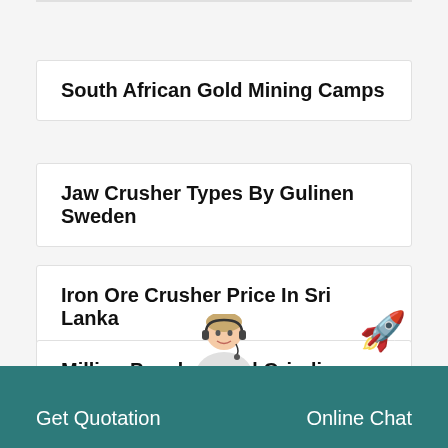South African Gold Mining Camps
Jaw Crusher Types By Gulinen Sweden
Iron Ore Crusher Price In Sri Lanka
Milling Powder Hand Grinding Machine
Get Quotation   Online Chat